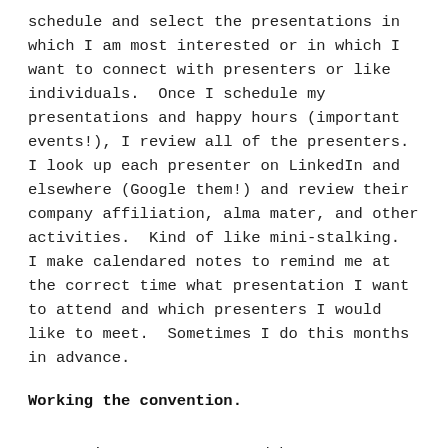schedule and select the presentations in which I am most interested or in which I want to connect with presenters or like individuals.  Once I schedule my presentations and happy hours (important events!), I review all of the presenters.  I look up each presenter on LinkedIn and elsewhere (Google them!) and review their company affiliation, alma mater, and other activities.  Kind of like mini-stalking.  I make calendared notes to remind me at the correct time what presentation I want to attend and which presenters I would like to meet.  Sometimes I do this months in advance.
Working the convention.
Conventions are to see and be seen.  I love wearing an eye catching color or stand out dress.  Be visible